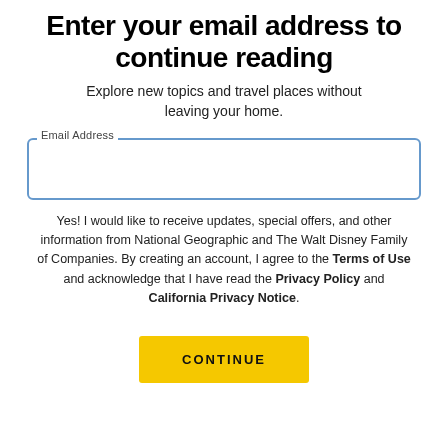Enter your email address to continue reading
Explore new topics and travel places without leaving your home.
Email Address
Yes! I would like to receive updates, special offers, and other information from National Geographic and The Walt Disney Family of Companies. By creating an account, I agree to the Terms of Use and acknowledge that I have read the Privacy Policy and California Privacy Notice.
CONTINUE